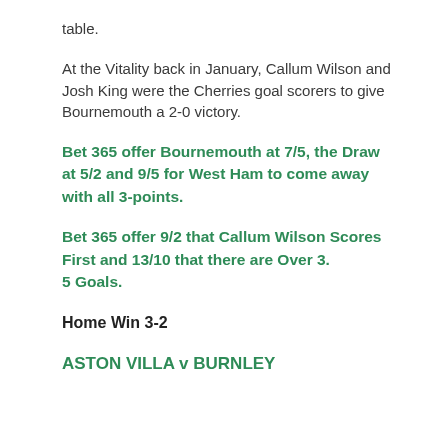table.
At the Vitality back in January, Callum Wilson and Josh King were the Cherries goal scorers to give Bournemouth a 2-0 victory.
Bet 365 offer Bournemouth at 7/5, the Draw at 5/2 and 9/5 for West Ham to come away with all 3-points.
Bet 365 offer 9/2 that Callum Wilson Scores First and 13/10 that there are Over 3.
5 Goals.
Home Win 3-2
ASTON VILLA v BURNLEY